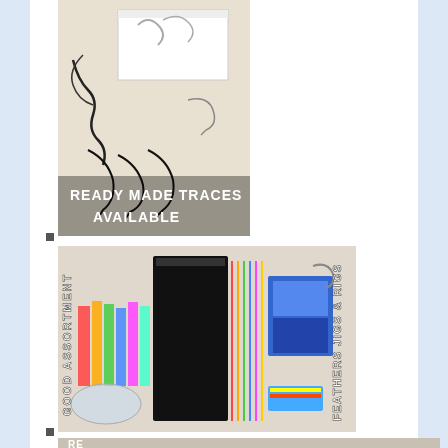[Figure (photo): Fishing hooks and traces laid out on white background with a white box. Text overlay reads READY MADE TRACES AVAILABLE.]
[Figure (photo): Colorful fishing feathers, jigs and rigs assortment displayed on white surface with packaging. Text overlay reads GOOD ASSORTMENT FEATHERS JIGS & RIGS.]
[Figure (photo): Partial image of fishing hooks and accessories at bottom of page. Text partially visible reading RE...]